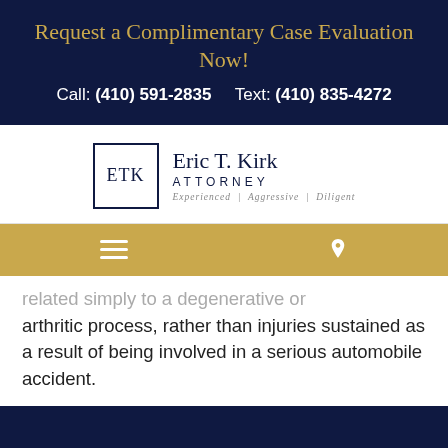Request a Complimentary Case Evaluation Now!
Call: (410) 591-2835     Text: (410) 835-4272
[Figure (logo): Eric T. Kirk Attorney logo with ETK monogram in a box, tagline: Experienced | Aggressive | Diligent]
[Figure (infographic): Golden navigation bar with hamburger menu icon on the left and map pin/location icon on the right]
related simply to a degenerative or arthritic process, rather than injuries sustained as a result of being involved in a serious automobile accident.